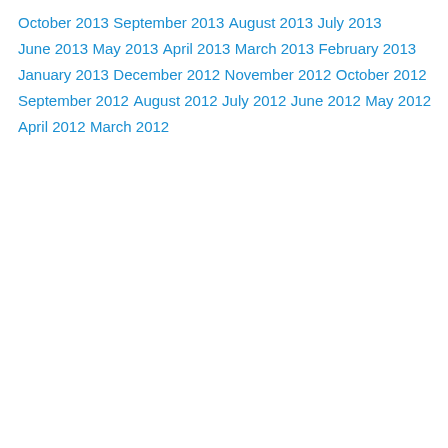October 2013
September 2013
August 2013
July 2013
June 2013
May 2013
April 2013
March 2013
February 2013
January 2013
December 2012
November 2012
October 2012
September 2012
August 2012
July 2012
June 2012
May 2012
April 2012
March 2012